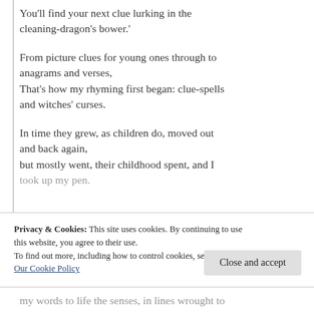You'll find your next clue lurking in the cleaning-dragon's bower.'
From picture clues for young ones through to anagrams and verses,
That's how my rhyming first began: clue-spells and witches' curses.
In time they grew, as children do, moved out and back again,
but mostly went, their childhood spent, and I took up my pen.
Privacy & Cookies: This site uses cookies. By continuing to use this website, you agree to their use.
To find out more, including how to control cookies, see here: Our Cookie Policy
Close and accept
my words to life the senses, in lines wrought to